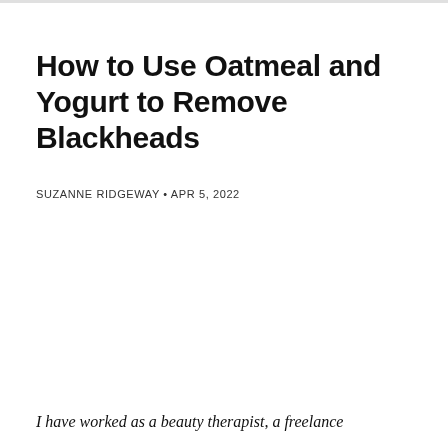How to Use Oatmeal and Yogurt to Remove Blackheads
SUZANNE RIDGEWAY • APR 5, 2022
I have worked as a beauty therapist, a freelance